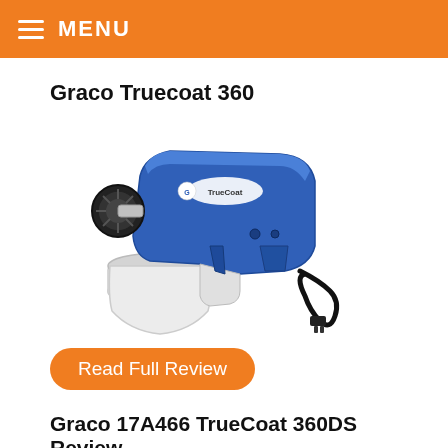MENU
Graco Truecoat 360
[Figure (photo): Photo of a Graco TrueCoat 360 paint sprayer — a blue and white handheld HVLP electric spray gun with a white cup/container at the bottom and a black power cord with plug.]
Read Full Review
Graco 17A466 TrueCoat 360DS Review